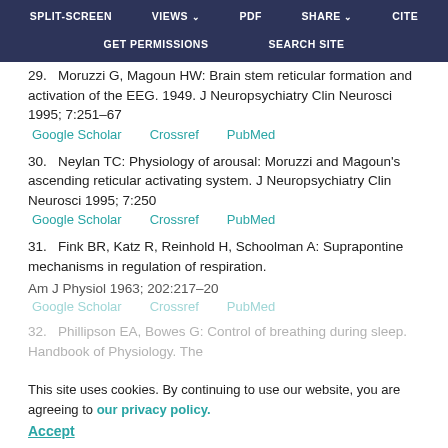SPLIT-SCREEN   VIEWS   PDF   SHARE   CITE   GET PERMISSIONS   SEARCH SITE
29.  Moruzzi G, Magoun HW: Brain stem reticular formation and activation of the EEG. 1949. J Neuropsychiatry Clin Neurosci 1995; 7:251–67
Google Scholar   Crossref   PubMed
30.  Neylan TC: Physiology of arousal: Moruzzi and Magoun's ascending reticular activating system. J Neuropsychiatry Clin Neurosci 1995; 7:250
Google Scholar   Crossref   PubMed
31.  Fink BR, Katz R, Reinhold H, Schoolman A: Suprapontine mechanisms in regulation of respiration. Am J Physiol 1963; 202:217–20
Google Scholar   Crossref   PubMed
32.  Phillipson EA, Bowes G: Control of breathing during sleep. Handbook of Physiology. The
This site uses cookies. By continuing to use our website, you are agreeing to our privacy policy. Accept